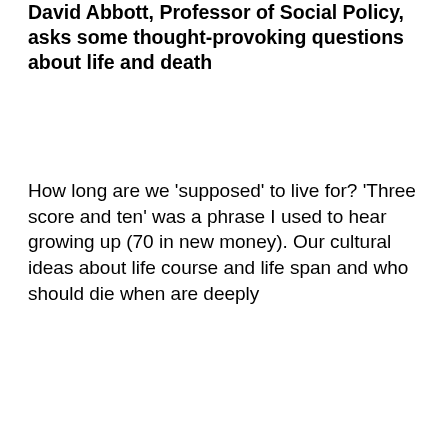David Abbott, Professor of Social Policy, asks some thought-provoking questions about life and death
How long are we 'supposed' to live for? 'Three score and ten' was a phrase I used to hear growing up (70 in new money). Our cultural ideas about life course and life span and who should die when are deeply